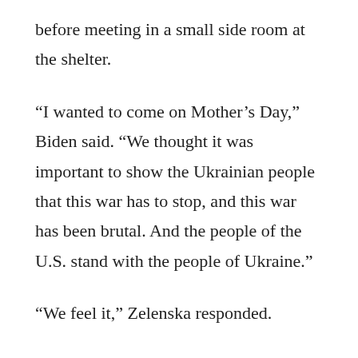before meeting in a small side room at the shelter.
“I wanted to come on Mother’s Day,” Biden said. “We thought it was important to show the Ukrainian people that this war has to stop, and this war has been brutal. And the people of the U.S. stand with the people of Ukraine.”
“We feel it,” Zelenska responded.
“First of all, I would like to thank you for a very courageous act,” Zelenska said. “Because we